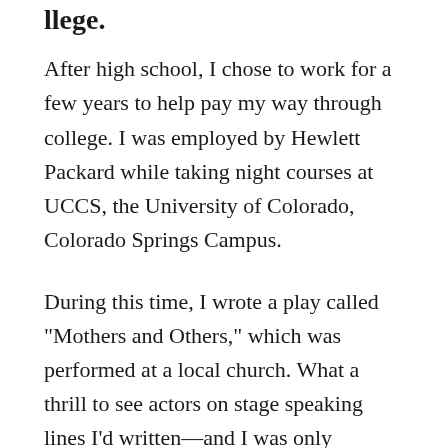llege.
After high school, I chose to work for a few years to help pay my way through college. I was employed by Hewlett Packard while taking night courses at UCCS, the University of Colorado, Colorado Springs Campus.
During this time, I wrote a play called "Mothers and Others," which was performed at a local church. What a thrill to see actors on stage speaking lines I'd written—and I was only nineteen years old.
After a couple of years, I moved to Gunnison, Colorado, to attend Western